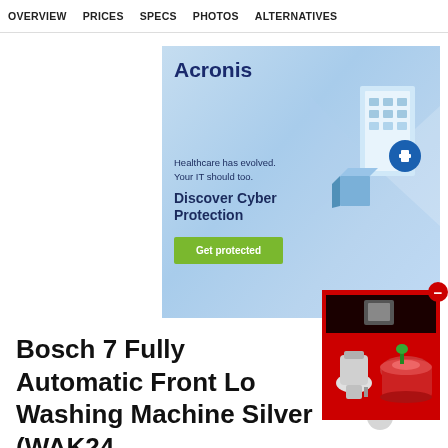OVERVIEW   PRICES   SPECS   PHOTOS   ALTERNATIVES
[Figure (illustration): Acronis advertisement banner with light blue gradient background, building/server illustration on the right, Acronis logo at top left, tagline 'Healthcare has evolved. Your IT should too.', headline 'Discover Cyber Protection', and green button 'Get protected']
[Figure (photo): Product thumbnail image on red background showing kitchen appliances including a blender and rice cooker, with a red close button in the top right corner]
Bosch 7 Fully Automatic Front Lo Washing Machine Silver (WAK24 Popular Comparisons